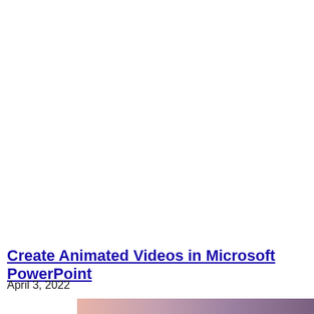Create Animated Videos in Microsoft PowerPoint
April 3, 2022
[Figure (photo): Partial view of a gradient image with pink, mauve and purple tones at the bottom of the page.]